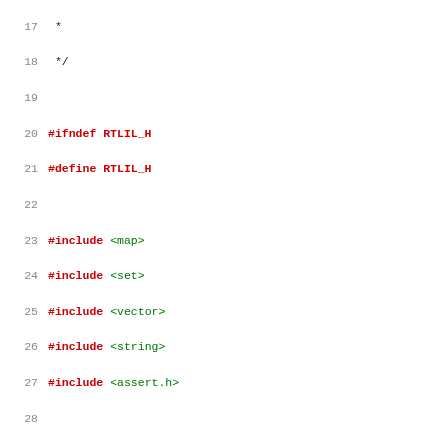Source code listing showing C++ header file rtlil.h with ifdef guards, includes, namespace RTLIL with enum State and enum SyncType definitions.